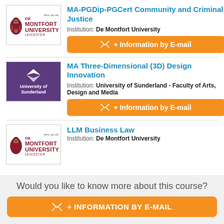MA-PGDip-PGCert Community and Criminal Justice
Institution: De Montfort University
+ Information by E-mail
MA Three-Dimensional (3D) Design Innovation
Institution: University of Sunderland - Faculty of Arts, Design and Media
+ Information by E-mail
LLM Business Law
Institution: De Montfort University
Would you like to know more about this course?
+ INFORMATION BY E-MAIL